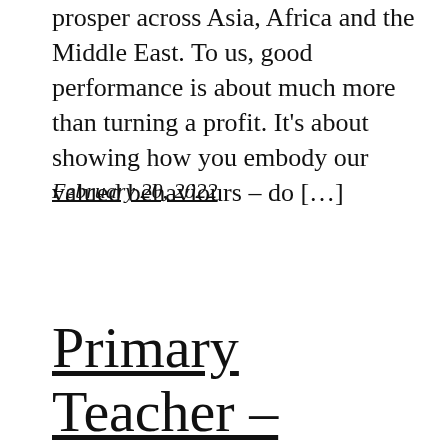prosper across Asia, Africa and the Middle East. To us, good performance is about much more than turning a profit. It's about showing how you embody our valued behaviours – do […]
February 20, 2022
Primary Teacher – UAE